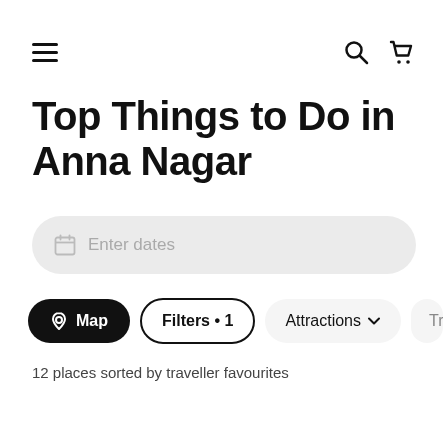≡ [search] [cart]
Top Things to Do in Anna Nagar
Enter dates
Map   Filters • 1   Attractions ∨   Trave>
12 places sorted by traveller favourites